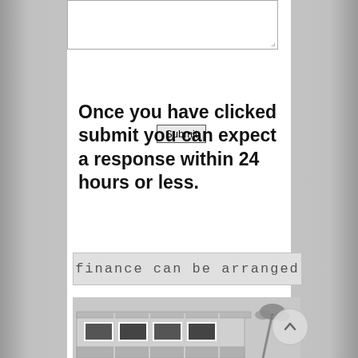[textarea input field]
Submit
Once you have clicked submit you can expect a response within 24 hours or less.
finance can be arranged
[Figure (photo): Photo of a modern building with large glass windows and a palm tree in the background, appearing to be a mobile home or modular structure with white-framed windows.]